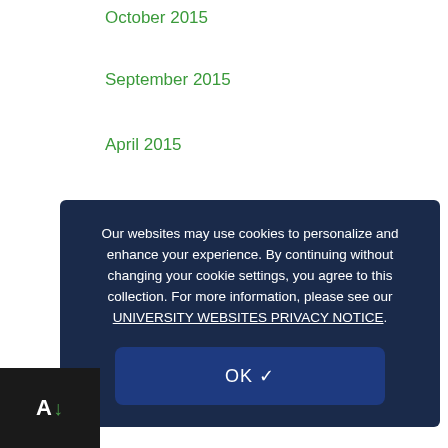October 2015
September 2015
April 2015
March 2015
February 2015
January 2015
December 2014
November 2014
September 2014
August 2014
Our websites may use cookies to personalize and enhance your experience. By continuing without changing your cookie settings, you agree to this collection. For more information, please see our UNIVERSITY WEBSITES PRIVACY NOTICE.